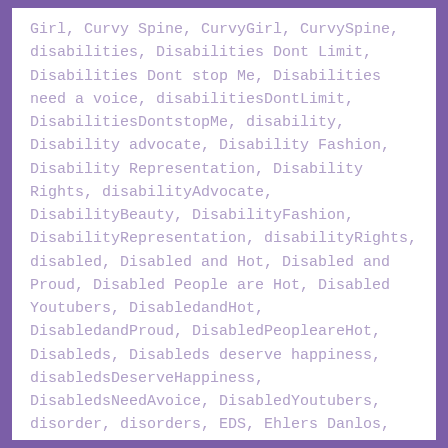Girl, Curvy Spine, CurvyGirl, CurvySpine, disabilities, Disabilities Dont Limit, Disabilities Dont stop Me, Disabilities need a voice, disabilitiesDontLimit, DisabilitiesDontstopMe, disability, Disability advocate, Disability Fashion, Disability Representation, Disability Rights, disabilityAdvocate, DisabilityBeauty, DisabilityFashion, DisabilityRepresentation, disabilityRights, disabled, Disabled and Hot, Disabled and Proud, Disabled People are Hot, Disabled Youtubers, DisabledandHot, DisabledandProud, DisabledPeopleareHot, Disableds, Disableds deserve happiness, disabledsDeserveHappiness, DisabledsNeedAvoice, DisabledYoutubers, disorder, disorders, EDS, Ehlers Danlos,